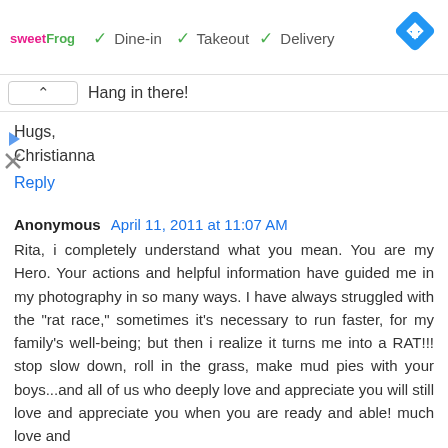[Figure (screenshot): Ad banner with sweetFrog logo, checkmarks for Dine-in, Takeout, Delivery, and a blue navigation diamond icon on the right]
Hang in there!
Hugs,
Christianna
Reply
Anonymous April 11, 2011 at 11:07 AM
Rita, i completely understand what you mean. You are my Hero. Your actions and helpful information have guided me in my photography in so many ways. I have always struggled with the "rat race," sometimes it's necessary to run faster, for my family's well-being; but then i realize it turns me into a RAT!!! stop slow down, roll in the grass, make mud pies with your boys...and all of us who deeply love and appreciate you will still love and appreciate you when you are ready and able! much love and